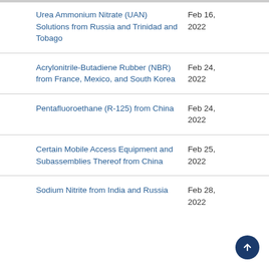| Case | Date |
| --- | --- |
| Urea Ammonium Nitrate (UAN) Solutions from Russia and Trinidad and Tobago | Feb 16, 2022 |
| Acrylonitrile-Butadiene Rubber (NBR) from France, Mexico, and South Korea | Feb 24, 2022 |
| Pentafluoroethane (R-125) from China | Feb 24, 2022 |
| Certain Mobile Access Equipment and Subassemblies Thereof from China | Feb 25, 2022 |
| Sodium Nitrite from India and Russia | Feb 28, 2022 |